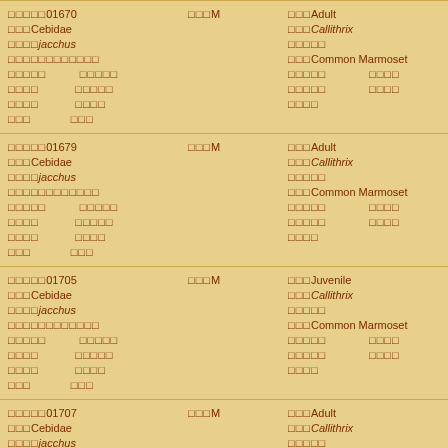| □□□□□01670  □□□Cebidae  □□□□jacchus  □□□□□□□□□□□□  □□□□□  □□□□  □□□□  □□□ | □□□M  □□□□□  □□□□□  □□□□  □□□ | □□□Adult  □□□Callithrix  □□□□□  □□□Common Marmoset  □□□□□  □□□□□  □□□□ |
| □□□□□01679  □□□Cebidae  □□□□jacchus  □□□□□□□□□□□□  □□□□□  □□□□  □□□□  □□□ | □□□M  □□□□□  □□□□□  □□□□  □□□ | □□□Adult  □□□Callithrix  □□□□□  □□□Common Marmoset  □□□□□  □□□□□  □□□□ |
| □□□□□01705  □□□Cebidae  □□□□jacchus  □□□□□□□□□□□□  □□□□□  □□□□  □□□□  □□□ | □□□M  □□□□□  □□□□□  □□□□  □□□ | □□□Juvenile  □□□Callithrix  □□□□□  □□□Common Marmoset  □□□□□  □□□□□  □□□□ |
| □□□□□01707  □□□Cebidae  □□□□jacchus | □□□M | □□□Adult  □□□Callithrix  □□□□□ |